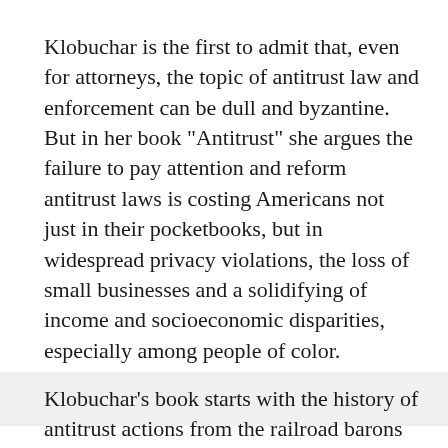Klobuchar is the first to admit that, even for attorneys, the topic of antitrust law and enforcement can be dull and byzantine. But in her book "Antitrust" she argues the failure to pay attention and reform antitrust laws is costing Americans not just in their pocketbooks, but in widespread privacy violations, the loss of small businesses and a solidifying of income and socioeconomic disparities, especially among people of color.
Klobuchar's book starts with the history of antitrust actions from the railroad barons in the late 19th century to the growing power of Big Tech today. One example: Facebook reach, power and market share